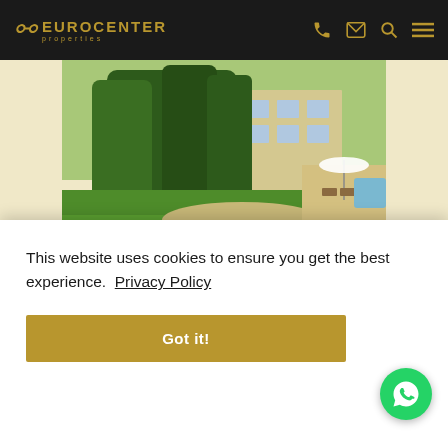EUROCENTER properties
[Figure (photo): Garden and house exterior photo: tall green trees/hedges on the left, a lawn in the center, and a beige/yellow residential building on the right with a white umbrella and patio furniture]
1 106 EUR   #676424
Budapest, 3 district   🛏 3   95m²
This website uses cookies to ensure you get the best experience.  Privacy Policy
Got it!